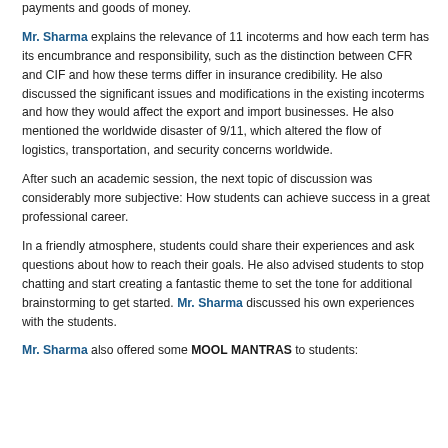regarding responsibility for costs and risks connected with the delivery of payments and goods of money.
Mr. Sharma explains the relevance of 11 incoterms and how each term has its encumbrance and responsibility, such as the distinction between CFR and CIF and how these terms differ in insurance credibility. He also discussed the significant issues and modifications in the existing incoterms and how they would affect the export and import businesses. He also mentioned the worldwide disaster of 9/11, which altered the flow of logistics, transportation, and security concerns worldwide.
After such an academic session, the next topic of discussion was considerably more subjective: How students can achieve success in a great professional career.
In a friendly atmosphere, students could share their experiences and ask questions about how to reach their goals. He also advised students to stop chatting and start creating a fantastic theme to set the tone for additional brainstorming to get started. Mr. Sharma discussed his own experiences with the students.
Mr. Sharma also offered some MOOL MANTRAS to students: